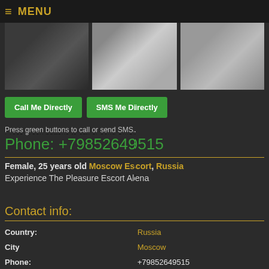≡ MENU
[Figure (photo): Three cropped photos of a person, shown partially, across the top of the page]
Call Me Directly   SMS Me Directly
Press green buttons to call or send SMS.
Phone: +79852649515
Female, 25 years old Moscow Escort, Russia
Experience The Pleasure Escort Alena
Contact info:
| Field | Value |
| --- | --- |
| Country: | Russia |
| City | Moscow |
| Phone: | +79852649515 |